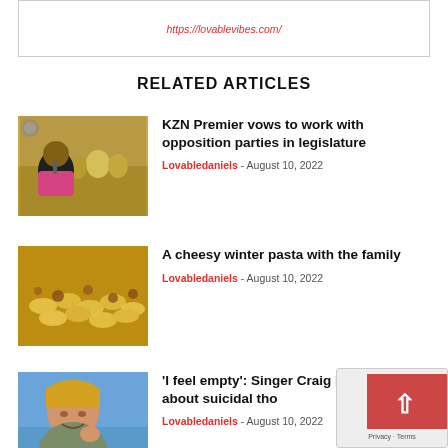https://lovablevibes.com/
RELATED ARTICLES
KZN Premier vows to work with opposition parties in legislature
Lovabledaniels - August 10, 2022
[Figure (photo): Photo of a woman speaking at a microphone at a public event]
A cheesy winter pasta with the family
Lovabledaniels - August 10, 2022
[Figure (photo): Photo of cheesy pasta dish]
'I feel empty': Singer Craig L opens up about suicidal tho
Lovabledaniels - August 10, 2022
[Figure (photo): Photo of a man smiling outdoors]